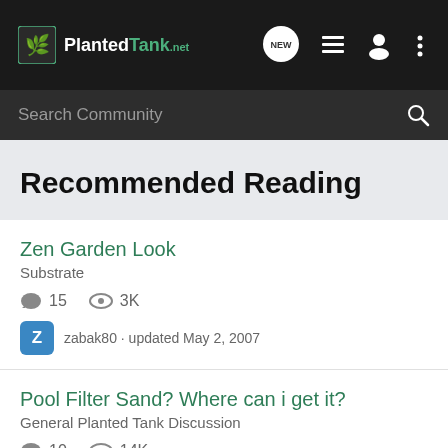PlantedTank.net
Recommended Reading
Zen Garden Look
Substrate
15 replies · 3K views · zabak80 · updated May 2, 2007
Pool Filter Sand? Where can i get it?
General Planted Tank Discussion
10 replies · 14K views